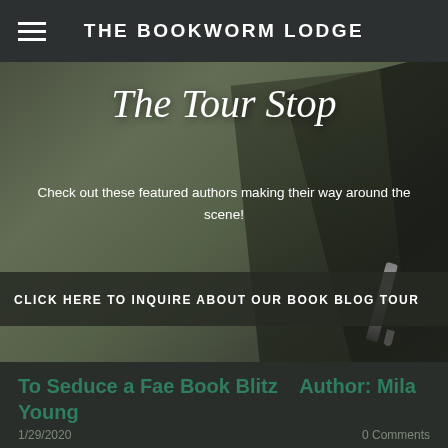THE BOOKWORM LODGE
[Figure (illustration): Hero banner image with olive/dark green book pages background, cursive title 'The Tour Stop', subtext about featured authors, and a dark semi-transparent CTA bar.]
The Tour Stop
Check out these featured authors making their way around the scene!
CLICK HERE TO INQUIRE ABOUT OUR BOOK BLOG TOUR
To Seduce a Fae Book Blitz    Author: Mila Young
1/29/2020
0 Comments